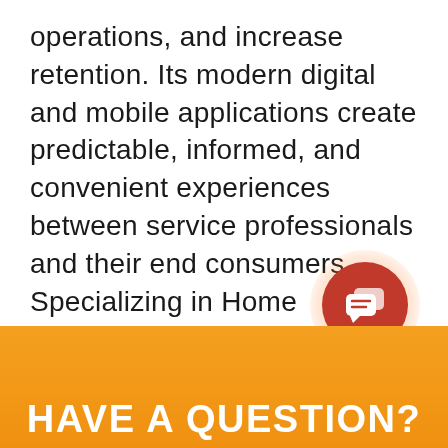operations, and increase retention. Its modern digital and mobile applications create predictable, informed, and convenient experiences between service professionals and their end consumers. Specializing in Home Services, Health Services, and Fitness & Wellness Services industries, EverCommerce solutions include end-to-end business management software, integrated payment acceptance, marketing technology, and customer engagement applications. Learn more at evercommerce.com.
[Figure (illustration): Red circle chat bubble icon with orange glow on white background]
HAVE A QUESTION?